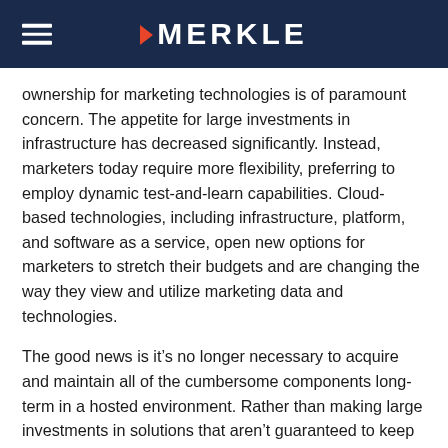MERKLE
ownership for marketing technologies is of paramount concern. The appetite for large investments in infrastructure has decreased significantly. Instead, marketers today require more flexibility, preferring to employ dynamic test-and-learn capabilities. Cloud-based technologies, including infrastructure, platform, and software as a service, open new options for marketers to stretch their budgets and are changing the way they view and utilize marketing data and technologies.
The good news is it’s no longer necessary to acquire and maintain all of the cumbersome components long-term in a hosted environment. Rather than making large investments in solutions that aren’t guaranteed to keep up with future needs, marketing organizations are looking for alternatives that can better optimize costs. These new options are changing the technology game; supporting business needs by: